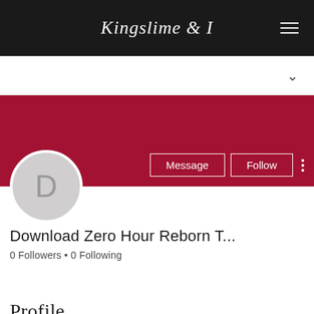Kingslime & I
[Figure (screenshot): White search/navigation bar with a downward chevron icon on the right]
[Figure (photo): Dark red/crimson cover photo banner]
[Figure (illustration): Circular avatar placeholder with letter D on grey background]
Message  Follow
Download Zero Hour Reborn T...
0 Followers • 0 Following
Profile